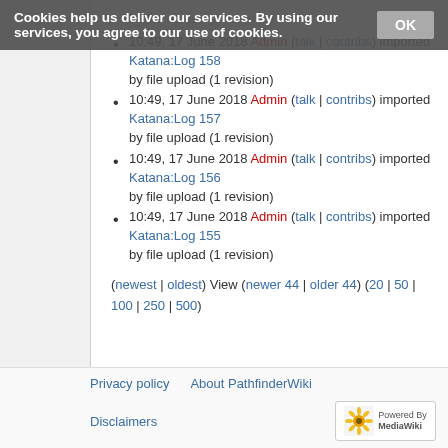Cookies help us deliver our services. By using our services, you agree to our use of cookies. OK
10:49, 17 June 2018 Admin (talk | contribs) imported Katana:Log 158 by file upload (1 revision)
10:49, 17 June 2018 Admin (talk | contribs) imported Katana:Log 157 by file upload (1 revision)
10:49, 17 June 2018 Admin (talk | contribs) imported Katana:Log 156 by file upload (1 revision)
10:49, 17 June 2018 Admin (talk | contribs) imported Katana:Log 155 by file upload (1 revision)
(newest | oldest) View (newer 44 | older 44) (20 | 50 | 100 | 250 | 500)
Privacy policy   About PathfinderWiki   Disclaimers